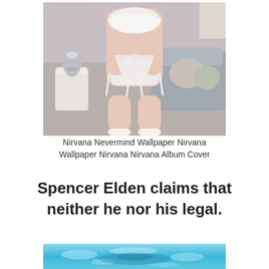[Figure (photo): A person in white lingerie standing near a grey sofa with decorative pillows and a silver ornamental vase on a white side table]
Nirvana Nevermind Wallpaper Nirvana Wallpaper Nirvana Nirvana Album Cover
Spencer Elden claims that neither he nor his legal.
[Figure (photo): An underwater scene showing rippling blue water with light reflections and a figure swimming beneath the surface]